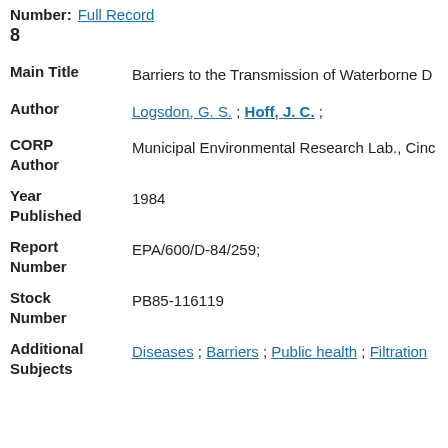Number: Full Record
8
Main Title: Barriers to the Transmission of Waterborne D...
Author: Logsdon, G. S. ; Hoff, J. C. ;
CORP Author: Municipal Environmental Research Lab., Cinc...
Year Published: 1984
Report Number: EPA/600/D-84/259;
Stock Number: PB85-116119
Additional Subjects: Diseases ; Barriers ; Public health ; Filtration